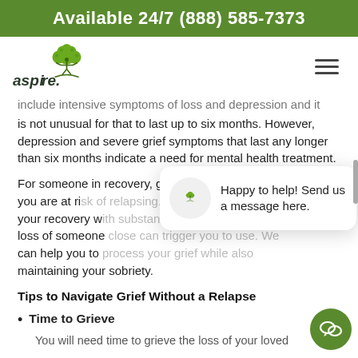Available 24/7 (888) 585-7373
[Figure (logo): Aspire logo with green tree and person figure]
include intensive symptoms of loss and depression and it is not unusual for that to last up to six months. However, depression and severe grief symptoms that last any longer than six months indicate a need for mental health treatment.
For someone in recovery, grief can be so overwhelming that you are at risk of relapsing. Not only can it derail your recovery with substance use disorder, but the loss of someone close can trigger you to use. We can help you to process your grief while also maintaining your sobriety.
[Figure (screenshot): Chat popup: Happy to help! Send us a message here. with Aspire logo icon]
Tips to Navigate Grief Without a Relapse
Time to Grieve
You will need time to grieve the loss of your loved